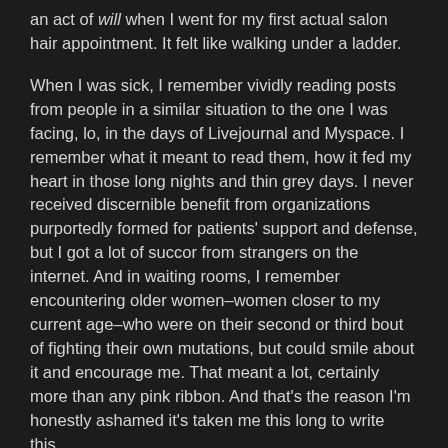an act of will when I went for my first actual salon hair appointment. It felt like walking under a ladder.
When I was sick, I remember vividly reading posts from people in a similar situation to the one I was facing, lo, in the days of Livejournal and Myspace. I remember what it meant to read them, how it fed my heart in those long nights and thin grey days. I never received discernible benefit from organizations purportedly formed for patients' support and defense, but I got a lot of succor from strangers on the internet. And in waiting rooms, I remember encountering older women–women closer to my current age–who were on their second or third bout of fighting their own mutations, but could smile about it and encourage me. That meant a lot, certainly more than any pink ribbon. And that's the reason I'm honestly ashamed it's taken me this long to write this.
If you're reading this and you're in a similar place, you can survive, too. You will. People do get better from stage III cancers. Another young cancer patient told me